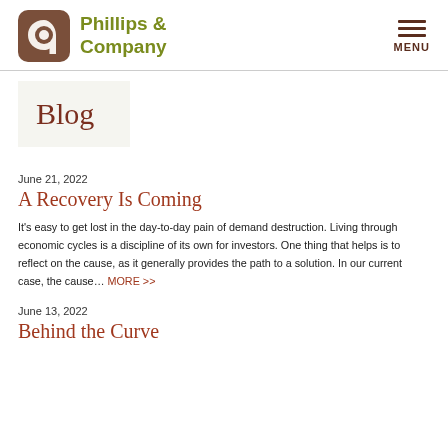[Figure (logo): Phillips & Company logo with rounded square icon and olive green text]
Blog
June 21, 2022
A Recovery Is Coming
It's easy to get lost in the day-to-day pain of demand destruction. Living through economic cycles is a discipline of its own for investors. One thing that helps is to reflect on the cause, as it generally provides the path to a solution. In our current case, the cause… MORE >>
June 13, 2022
Behind the Curve